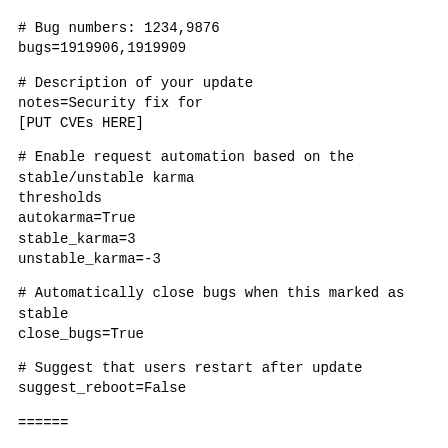# Bug numbers: 1234,9876
bugs=1919906,1919909
# Description of your update
notes=Security fix for
[PUT CVEs HERE]
# Enable request automation based on the stable/unstable karma thresholds
autokarma=True
stable_karma=3
unstable_karma=-3
# Automatically close bugs when this marked as stable
close_bugs=True
# Suggest that users restart after update
suggest_reboot=False
======
Additionally, you may
opt to use the bodhi web